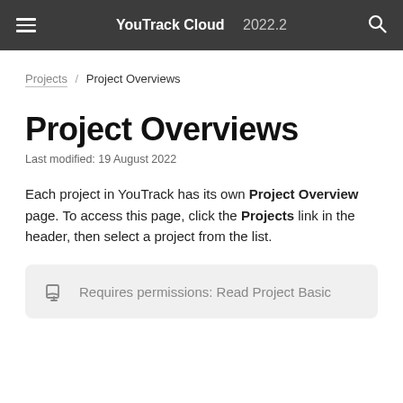YouTrack Cloud 2022.2
Projects / Project Overviews
Project Overviews
Last modified: 19 August 2022
Each project in YouTrack has its own Project Overview page. To access this page, click the Projects link in the header, then select a project from the list.
Requires permissions: Read Project Basic